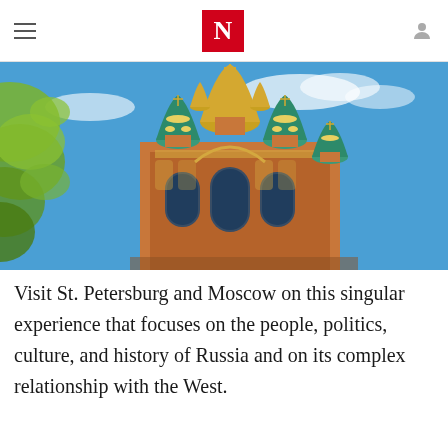N (The New Yorker logo)
[Figure (photo): Photograph of the Church of the Savior on Spilled Blood in St. Petersburg, Russia, showing ornate colorful onion domes (gold, teal, blue, green) against a bright blue sky, with green leaves visible at left.]
Visit St. Petersburg and Moscow on this singular experience that focuses on the people, politics, culture, and history of Russia and on its complex relationship with the West.